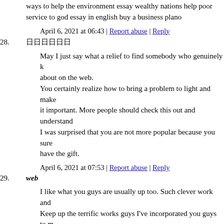ways to help the environment essay wealthy nations help poor service to god essay in english buy a business plano
April 6, 2021 at 06:43 | Report abuse | Reply
28. 日日日日日日
May I just say what a relief to find somebody who genuinely k about on the web.
You certainly realize how to bring a problem to light and make it important. More people should check this out and understand I was surprised that you are not more popular because you sure have the gift.
April 6, 2021 at 07:53 | Report abuse | Reply
29. web
I like what you guys are usually up too. Such clever work and Keep up the terrific works guys I've incorporated you guys to m
April 6, 2021 at 08:44 | Report abuse | Reply
30. tadalis sx
tadalafil online https://elitadalafill.com/ what is tadalafil
April 6, 2021 at 10:15 | Report abuse | Reply
31. what is tadalafil